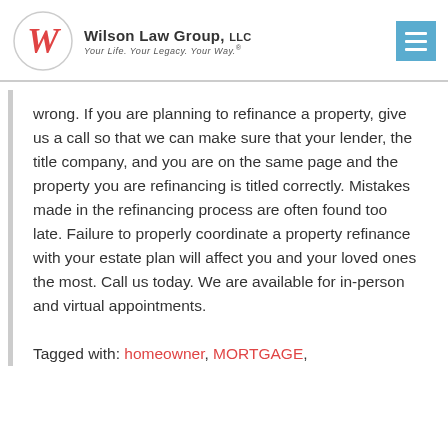Wilson Law Group, LLC — Your Life. Your Legacy. Your Way.
wrong. If you are planning to refinance a property, give us a call so that we can make sure that your lender, the title company, and you are on the same page and the property you are refinancing is titled correctly. Mistakes made in the refinancing process are often found too late. Failure to properly coordinate a property refinance with your estate plan will affect you and your loved ones the most. Call us today. We are available for in-person and virtual appointments.
Tagged with: homeowner, MORTGAGE,